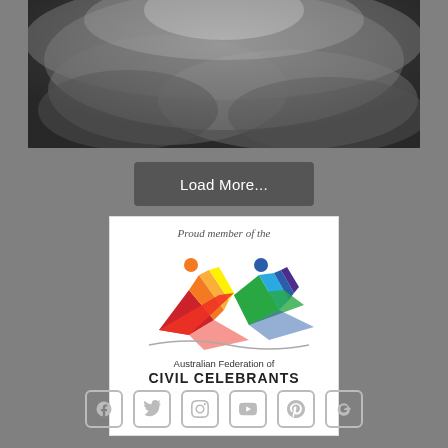[Figure (photo): Black and white photograph of dramatic cloudy sky]
Load More...
[Figure (logo): Australian Federation of Civil Celebrants logo with colorful figures and rainbow colors, with text 'Proud member of the Australian Federation of CIVIL CELEBRANTS']
[Figure (infographic): Social media icons row: Facebook, Twitter, Instagram, YouTube, Pinterest, Google+]